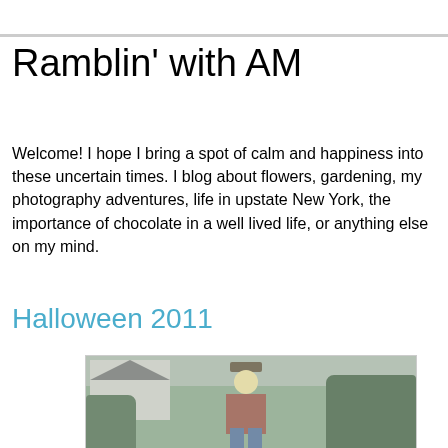Ramblin' with AM
Welcome! I hope I bring a spot of calm and happiness into these uncertain times. I blog about flowers, gardening, my photography adventures, life in upstate New York, the importance of chocolate in a well lived life, or anything else on my mind.
Monday, October 31, 2011
Halloween 2011
[Figure (photo): A snowman/scarecrow decoration standing in a snowy yard with snow-covered bushes and a white house in the background, photographed on Halloween 2011 in upstate New York]